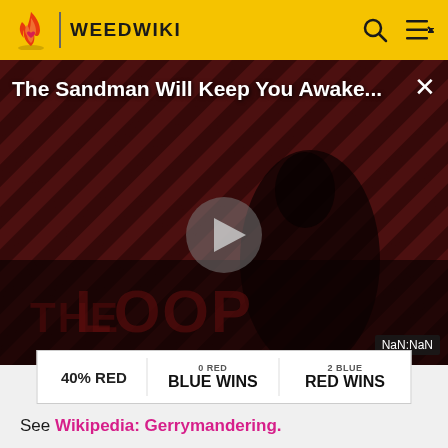WEEDWIKI
[Figure (screenshot): Video player showing 'The Sandman Will Keep You Awake...' with diagonal stripe background, a figure in dark clothing, play button, THE LOOP logo, and NaN:NaN timer badge.]
|  | 0 RED / BLUE WINS | 2 BLUE / RED WINS |
| --- | --- | --- |
| 40% RED | BLUE WINS | RED WINS |
See Wikipedia: Gerrymandering.